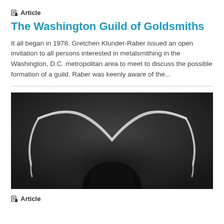Article
The Washington Guild of Goldsmiths
It all began in 1978. Gretchen Klunder-Raber issued an open invitation to all persons interested in metalsmithing in the Washington, D.C. metropolitan area to meet to discuss the possible formation of a guild. Raber was keenly aware of the...
[Figure (photo): Black and white close-up photograph of a metalwork piece — a curved metal wire or rod forming an arc shape against a dark background, with the ends draping down.]
Article